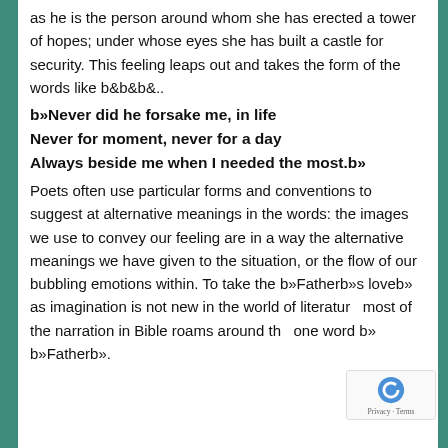as he is the person around whom she has erected a tower of hopes; under whose eyes she has built a castle for security. This feeling leaps out and takes the form of the words like b&b&b&..
b»Never did he forsake me, in life
Never for moment, never for a day
Always beside me when I needed the most.b»
Poets often use particular forms and conventions to suggest at alternative meanings in the words: the images we use to convey our feeling are in a way the alternative meanings we have given to the situation, or the flow of our bubbling emotions within. To take the b»Fatherb»s loveb» as imagination is not new in the world of literature most of the narration in Bible roams around the one word b» b»Fatherb».